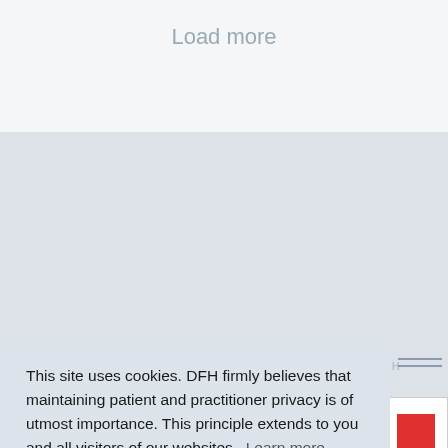Load more
This site uses cookies. DFH firmly believes that maintaining patient and practitioner privacy is of utmost importance. This principle extends to you and all visitors of our websites.  Learn more
OK
Clinical Applications of Scientific Innovation